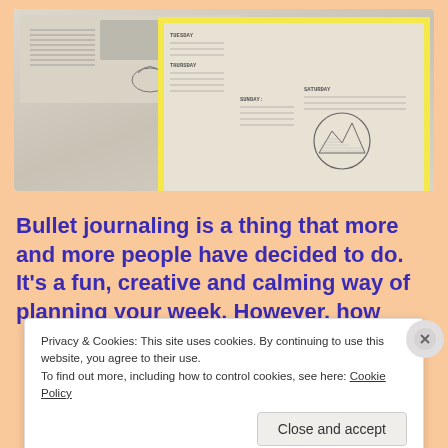[Figure (photo): Photos of bullet journal pages with handwritten weekly spreads, decorative elements like mountains and text, arranged with a yellow-bordered overlay on a peach/salmon background]
Bullet journaling is a thing that more and more people have decided to do. It's a fun, creative and calming way of planning your week. However, how
Privacy & Cookies: This site uses cookies. By continuing to use this website, you agree to their use.
To find out more, including how to control cookies, see here: Cookie Policy
Close and accept